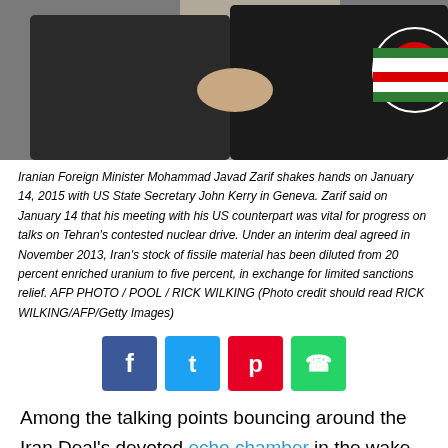[Figure (photo): Photo of Iranian Foreign Minister Mohammad Javad Zarif shaking hands with US State Secretary John Kerry in Geneva, January 14, 2015. An Iranian flag is visible in the background.]
Iranian Foreign Minister Mohammad Javad Zarif shakes hands on January 14, 2015 with US State Secretary John Kerry in Geneva. Zarif said on January 14 that his meeting with his US counterpart was vital for progress on talks on Tehran's contested nuclear drive. Under an interim deal agreed in November 2013, Iran's stock of fissile material has been diluted from 20 percent enriched uranium to five percent, in exchange for limited sanctions relief. AFP PHOTO / POOL / RICK WILKING (Photo credit should read RICK WILKING/AFP/Getty Images)
[Figure (infographic): Four social media sharing buttons: Facebook (blue), Twitter (light blue), Pinterest (red), WhatsApp (green)]
Among the talking points bouncing around the Iran Deal's devoted echo chamber in the wake of President Trump's decertification decision is one of proponents' most honest and simultaneously sordid admissions: The JCPOA means big business for the West. As long as the money is good, let us all